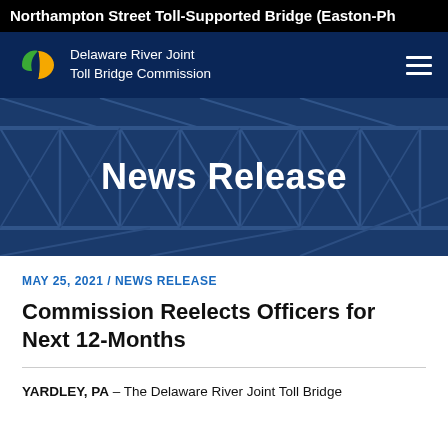Northampton Street Toll-Supported Bridge (Easton-Ph
[Figure (logo): Delaware River Joint Toll Bridge Commission logo with green and yellow D-shape icon, white text on navy background]
[Figure (photo): Hero banner showing bridge steel truss structure in dark blue tones with 'News Release' text overlay]
MAY 25, 2021 / NEWS RELEASE
Commission Reelects Officers for Next 12-Months
YARDLEY, PA – The Delaware River Joint Toll Bridge